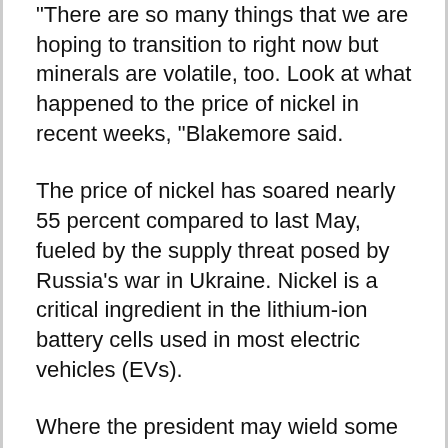“There are so many things that we are hoping to transition to right now but minerals are volatile, too. Look at what happened to the price of nickel in recent weeks, ”Blakemore said.
The price of nickel has soared nearly 55 percent compared to last May, fueled by the supply threat posed by Russia’s war in Ukraine. Nickel is a critical ingredient in the lithium-ion battery cells used in most electric vehicles (EVs).
Where the president may wield some power is on the demand side, analysts said. To reduce exposure to higher prices, Biden can demand higher fuel economy standards or subsidize EVs.